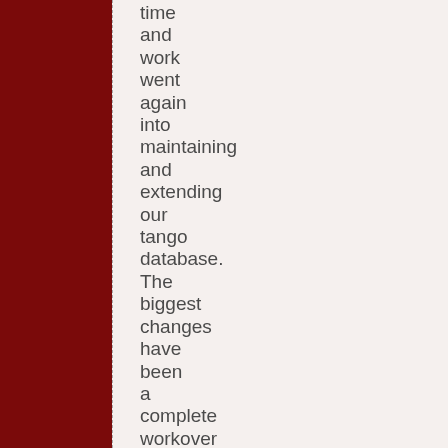time
and
work
went
again
into
maintaining
and
extending
our
tango
database.
The
biggest
changes
have
been
a
complete
workover
of
all
Rafael
Canaro
recordings
as
well
as
the
addition
of
~900+